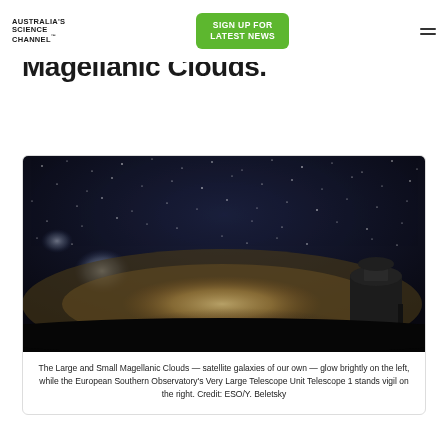AUSTRALIA'S SCIENCE CHANNEL™  |  SIGN UP FOR LATEST NEWS
Magellanic Clouds.
[Figure (photo): Night sky photograph showing the Large and Small Magellanic Clouds glowing on the left, the Milky Way arc across the horizon, and the European Southern Observatory's Very Large Telescope Unit Telescope 1 silhouetted on the right.]
The Large and Small Magellanic Clouds — satellite galaxies of our own — glow brightly on the left, while the European Southern Observatory's Very Large Telescope Unit Telescope 1 stands vigil on the right. Credit: ESO/Y. Beletsky